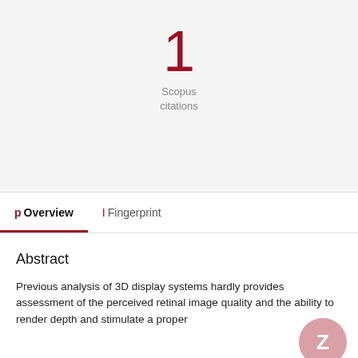1
Scopus
citations
Overview
Fingerprint
Abstract
Previous analysis of 3D display systems hardly provides assessment of the perceived retinal image quality and the ability to render depth and stimulate a proper